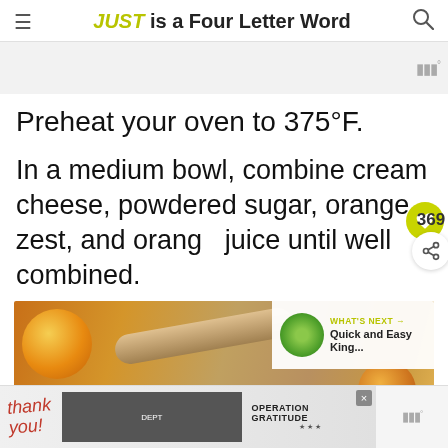JUST is a Four Letter Word
Preheat your oven to 375°F.
In a medium bowl, combine cream cheese, powdered sugar, orange zest, and orange juice until well combined.
[Figure (photo): Close-up photo of oranges and what appears to be a rolled pastry or crepe on a surface, with a 'WHAT'S NEXT' overlay showing a thumbnail and text 'Quick and Easy King...']
[Figure (photo): Advertisement banner: 'Thank you!' with military/firefighter personnel and Operation Gratitude logo]